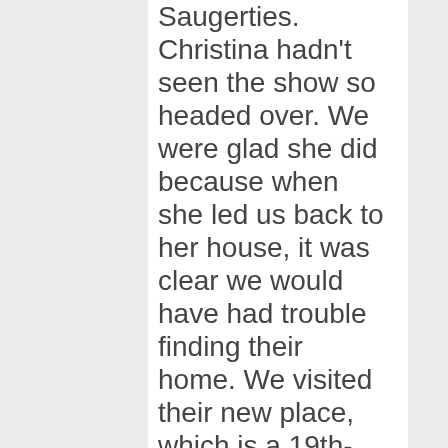Saugerties. Christina hadn't seen the show so headed over. We were glad she did because when she led us back to her house, it was clear we would have had trouble finding their home. We visited their new place, which is a 19th-century carriage house, and it's terrific. Christina asked if we would like it if she invited